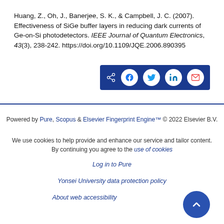Huang, Z., Oh, J., Banerjee, S. K., & Campbell, J. C. (2007). Effectiveness of SiGe buffer layers in reducing dark currents of Ge-on-Si photodetectors. IEEE Journal of Quantum Electronics, 43(3), 238-242. https://doi.org/10.1109/JQE.2006.890395
[Figure (other): Social share bar with share, Facebook, Twitter, LinkedIn, and email icons on dark blue background]
Powered by Pure, Scopus & Elsevier Fingerprint Engine™ © 2022 Elsevier B.V.
We use cookies to help provide and enhance our service and tailor content. By continuing you agree to the use of cookies
Log in to Pure
Yonsei University data protection policy
About web accessibility